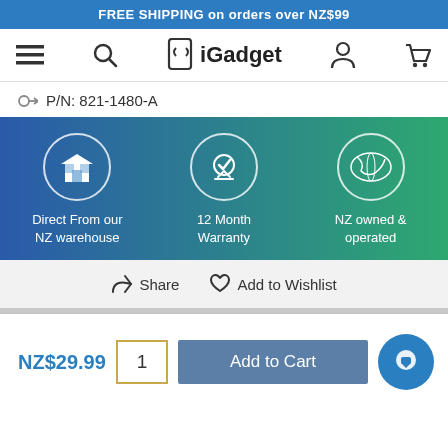FREE SHIPPING on orders over NZ$99
[Figure (screenshot): iGadget website navigation bar with hamburger menu, search icon, iGadget logo, user icon, and cart icon]
P/N: 821-1480-A
[Figure (infographic): Three benefit icons on gradient blue-green background: Direct From our NZ warehouse, 12 Month Warranty, NZ owned & operated]
Share  Add to Wishlist
NZ$29.99  1  Add to Cart